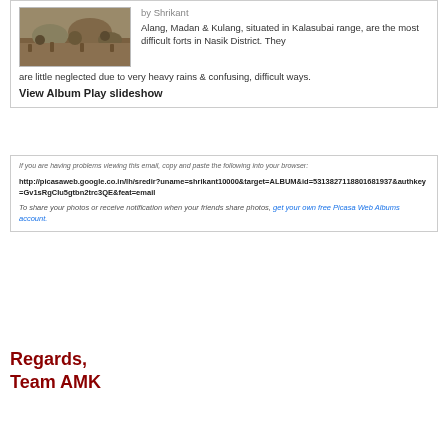[Figure (photo): Outdoor group photo in rocky terrain with people gathered among boulders on dry land]
by Shrikant
Alang, Madan & Kulang, situated in Kalasubai range, are the most difficult forts in Nasik District. They are little neglected due to very heavy rains & confusing, difficult ways.
View Album Play slideshow
If you are having problems viewing this email, copy and paste the following into your browser:
http://picasaweb.google.co.in/lh/sredir?uname=shrikant10000&target=ALBUM&id=5313827118801681937&authkey=Gv1sRgCIu5gtbn2trc3QE&feat=email
To share your photos or receive notification when your friends share photos, get your own free Picasa Web Albums account.
Regards,
Team AMK